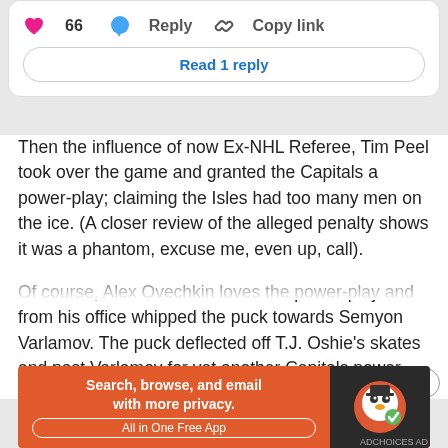[Figure (screenshot): Social media post action bar showing a pink heart icon with count 66, a blue speech bubble Reply button, and a chain link Copy link button, plus a 'Read 1 reply' button below]
Then the influence of now Ex-NHL Referee, Tim Peel took over the game and granted the Capitals a power-play; claiming the Isles had too many men on the ice. (A closer review of the alleged penalty shows it was a phantom, excuse me, even up, call).
Of course, Alex Ovechkin loves the power-play and from his office whipped the puck towards Semyon Varlamov. The puck deflected off T.J. Oshie's skates and past Varlamov for yet another Capitals power
Advertisements
[Figure (screenshot): DuckDuckGo advertisement banner with orange background reading 'Search, browse, and email with more privacy. All in One Free App' with DuckDuckGo logo on dark background on right side]